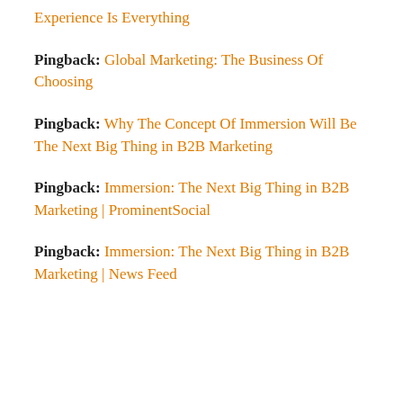Experience Is Everything
Pingback: Global Marketing: The Business Of Choosing
Pingback: Why The Concept Of Immersion Will Be The Next Big Thing in B2B Marketing
Pingback: Immersion: The Next Big Thing in B2B Marketing | ProminentSocial
Pingback: Immersion: The Next Big Thing in B2B Marketing | News Feed